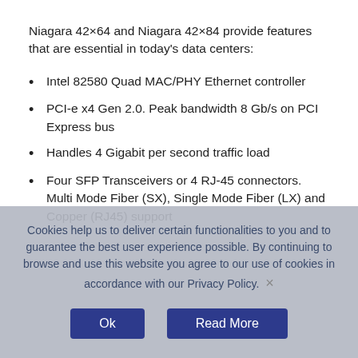Niagara 42×64 and Niagara 42×84 provide features that are essential in today's data centers:
Intel 82580 Quad MAC/PHY Ethernet controller
PCI-e x4 Gen 2.0. Peak bandwidth 8 Gb/s on PCI Express bus
Handles 4 Gigabit per second traffic load
Four SFP Transceivers or 4 RJ-45 connectors. Multi Mode Fiber (SX), Single Mode Fiber (LX) and Copper (RJ45) support
Cookies help us to deliver certain functionalities to you and to guarantee the best user experience possible. By continuing to browse and use this website you agree to our use of cookies in accordance with our Privacy Policy.